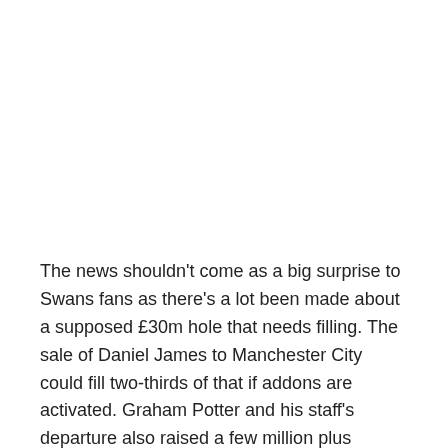The news shouldn't come as a big surprise to Swans fans as there's a lot been made about a supposed £30m hole that needs filling. The sale of Daniel James to Manchester City could fill two-thirds of that if addons are activated. Graham Potter and his staff's departure also raised a few million plus Jordan Ayew is expected to join Crystal Palace for £2.5m. Therefore, that £30m hole should be close to being filled ahead of the new season.